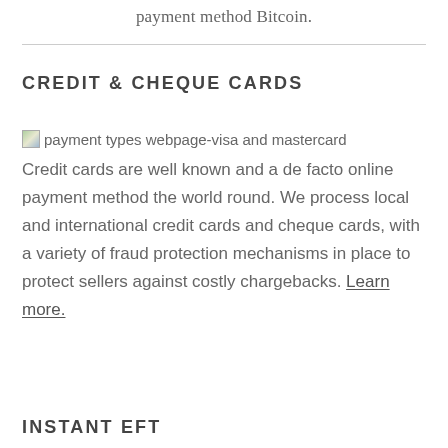payment method Bitcoin.
CREDIT & CHEQUE CARDS
[Figure (illustration): Broken image placeholder with alt text 'payment types webpage-visa and mastercard']
Credit cards are well known and a de facto online payment method the world round. We process local and international credit cards and cheque cards, with a variety of fraud protection mechanisms in place to protect sellers against costly chargebacks. Learn more.
INSTANT EFT